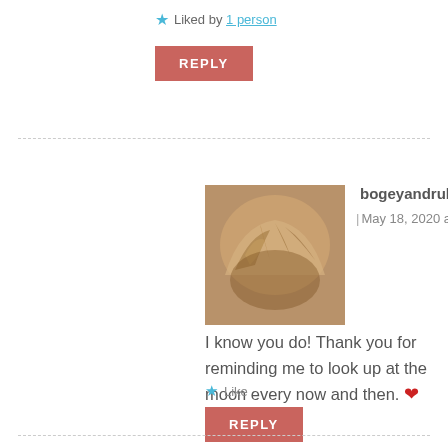★ Liked by 1 person
REPLY
bogeyandruby says: | May 18, 2020 at 1:52 pm
I know you do! Thank you for reminding me to look up at the moon every now and then. ❤
★ Like
REPLY